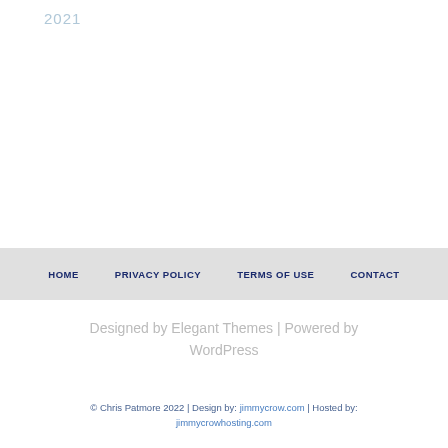2021
HOME   PRIVACY POLICY   TERMS OF USE   CONTACT
Designed by Elegant Themes | Powered by WordPress
© Chris Patmore 2022 | Design by: jimmycrow.com | Hosted by: jimmycrowhosting.com